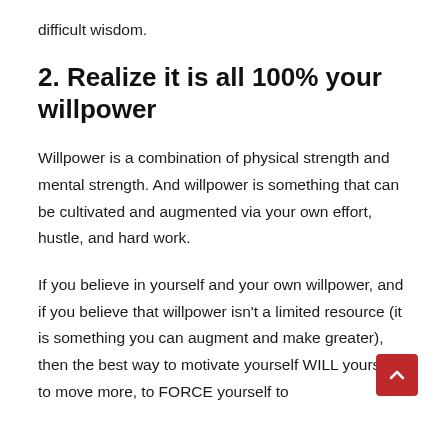difficult wisdom.
2. Realize it is all 100% your willpower
Willpower is a combination of physical strength and mental strength. And willpower is something that can be cultivated and augmented via your own effort, hustle, and hard work.
If you believe in yourself and your own willpower, and if you believe that willpower isn't a limited resource (it is something you can augment and make greater), then the best way to motivate yourself WILL yourself to move more, to FORCE yourself to